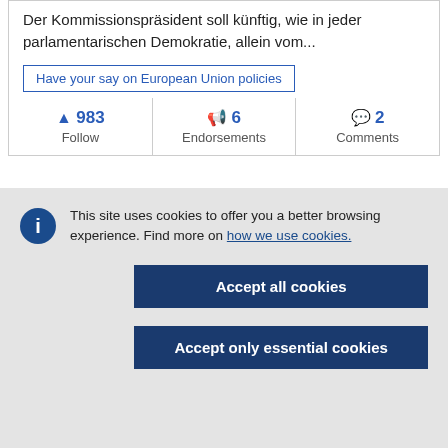Der Kommissionspräsident soll künftig, wie in jeder parlamentarischen Demokratie, allein vom...
Have your say on European Union policies
| Follow | Endorsements | Comments |
| --- | --- | --- |
| 983 | 6 | 2 |
This site uses cookies to offer you a better browsing experience. Find out more on how we use cookies.
Accept all cookies
Accept only essential cookies